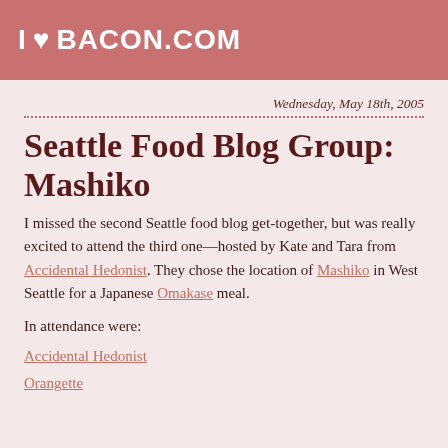I ♥ BACON.COM
Wednesday, May 18th, 2005
Seattle Food Blog Group: Mashiko
I missed the second Seattle food blog get-together, but was really excited to attend the third one—hosted by Kate and Tara from Accidental Hedonist. They chose the location of Mashiko in West Seattle for a Japanese Omakase meal.
In attendance were:
Accidental Hedonist
Orangette